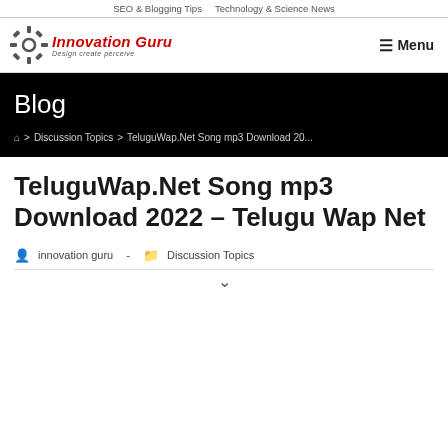SEO & Blogging Tips   Technology & Science News
[Figure (logo): Innovation Guru logo with gear icon and tagline 'Design create perceive']
☰ Menu
Blog
🏠 > Discussion Topics > TeluguWap.Net Song mp3 Download 20...
TeluguWap.Net Song mp3 Download 2022 – Telugu Wap Net
innovation guru  -  Discussion Topics